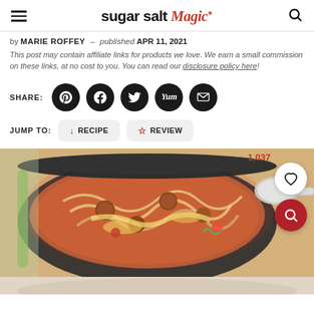sugar salt magic
by MARIE ROFFEY – published APR 11, 2021
This post may contain affiliate links for products we love. We earn a small commission on these links, at no cost to you. You can read our disclosure policy here!
SHARE: [Pinterest] [Facebook] [Twitter] [Yummly] [Email]
JUMP TO: RECIPE | REVIEW
[Figure (photo): Overhead view of a large pot of pasta with meatballs, rotini noodles, tomato sauce, and melted cheese. A large spoon rests on the right side. A heart/save button shows 1,037 saves. A magnify button in red is visible bottom right.]